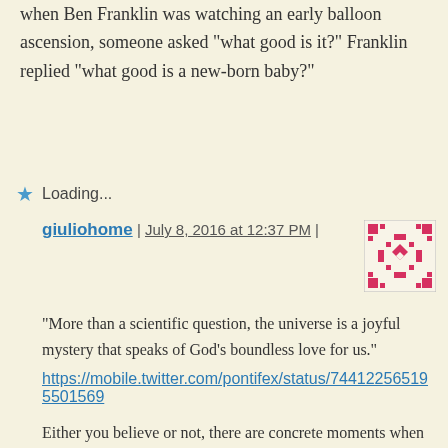when Ben Franklin was watching an early balloon ascension, someone asked “what good is it?” Franklin replied “what good is a new-born baby?”
Loading...
giuliohome | July 8, 2016 at 12:37 PM |
[Figure (illustration): Avatar/gravatar image with red and white geometric pattern on cream background]
“More than a scientific question, the universe is a joyful mystery that speaks of God’s boundless love for us.”
https://mobile.twitter.com/pontifex/status/744122565195501569
Either you believe or not, there are concrete moments when